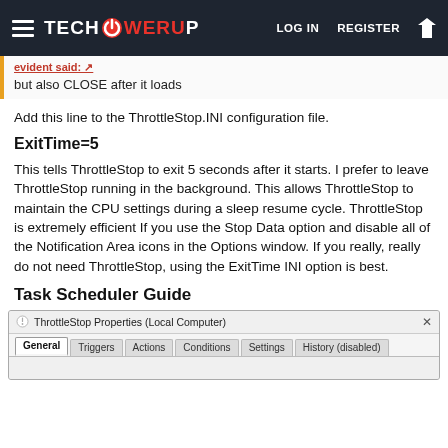TECHPOWERUP — LOG IN   REGISTER
evident said: ↗
but also CLOSE after it loads
Add this line to the ThrottleStop.INI configuration file.
ExitTime=5
This tells ThrottleStop to exit 5 seconds after it starts. I prefer to leave ThrottleStop running in the background. This allows ThrottleStop to maintain the CPU settings during a sleep resume cycle. ThrottleStop is extremely efficient If you use the Stop Data option and disable all of the Notification Area icons in the Options window. If you really, really do not need ThrottleStop, using the ExitTime INI option is best.
Task Scheduler Guide
[Figure (screenshot): ThrottleStop Properties (Local Computer) dialog window with tabs: General, Triggers, Actions, Conditions, Settings, History (disabled)]